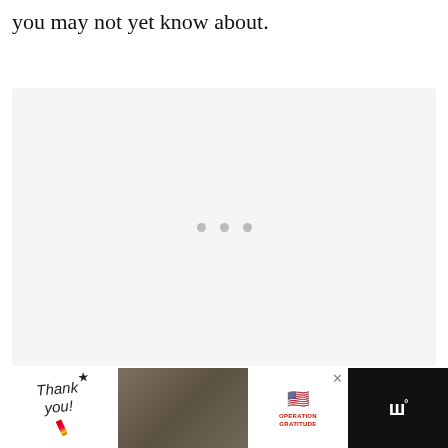you may not yet know about.
[Figure (other): Loading placeholder box with three gray dots indicating content loading in progress]
[Figure (other): Advertisement banner for Operation Gratitude featuring 'Thank you!' handwritten text with a pencil graphic, soldiers in military gear, Operation Gratitude logo with American flag stars graphic, and a weather app logo]